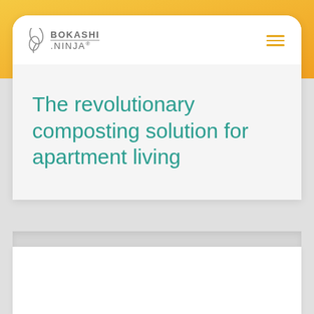[Figure (logo): Bokashi Ninja logo with leaf icon and brand name]
The revolutionary composting solution for apartment living